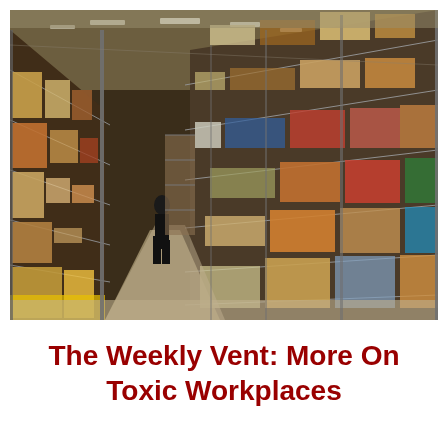[Figure (photo): Interior of a large warehouse with tall metal shelving units on both sides filled with cardboard boxes and various packaged products. A worker dressed in black is walking down the aisle away from the camera. Overhead fluorescent lighting illuminates the long corridor. The perspective creates a vanishing point in the center of the image.]
The Weekly Vent: More On Toxic Workplaces